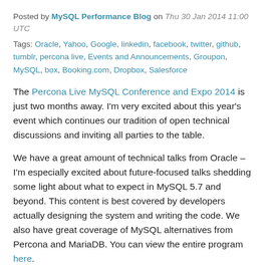Posted by MySQL Performance Blog on Thu 30 Jan 2014 11:00 UTC
Tags: Oracle, Yahoo, Google, linkedin, facebook, twitter, github, tumblr, percona live, Events and Announcements, Groupon, MySQL, box, Booking.com, Dropbox, Salesforce
The Percona Live MySQL Conference and Expo 2014 is just two months away. I'm very excited about this year's event which continues our tradition of open technical discussions and inviting all parties to the table.
We have a great amount of technical talks from Oracle – I'm especially excited about future-focused talks shedding some light about what to expect in MySQL 5.7 and beyond. This content is best covered by developers actually designing the system and writing the code. We also have great coverage of MySQL alternatives from Percona and MariaDB. You can view the entire program here.
It is great to see well-rounded coverage of many …